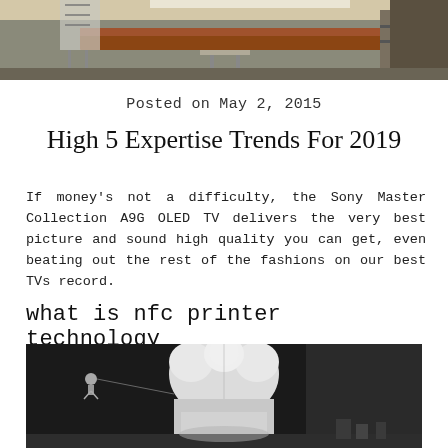[Figure (photo): Partial view of an office/kitchen scene with furniture including a wooden table and chairs, with bright overhead lighting.]
Posted on May 2, 2015
High 5 Expertise Trends For 2019
If money's not a difficulty, the Sony Master Collection A9G OLED TV delivers the very best picture and sound high quality you can get, even beating out the rest of the fashions on our best TVs record.
what is nfc printer technology
[Figure (photo): Close-up photo of a space shuttle or rocket model, showing the nose/top section with rounded white components, displayed in a dark museum-like setting with a small astronaut figure visible in the background.]